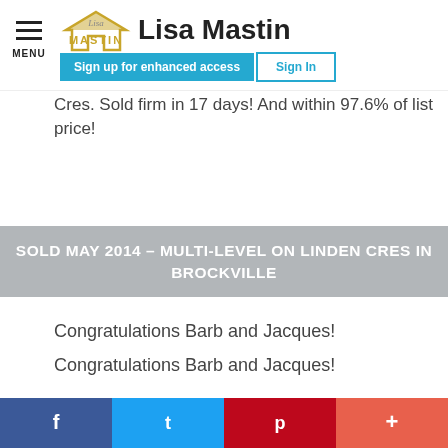Lisa Mastin — Sign up for enhanced access | Sign In
Cres. Sold firm in 17 days! And within 97.6% of list price!
SOLD MAY 2014 – MULTI-LEVEL ON LINDEN CRES IN BROCKVILLE
Congratulations Barb and Jacques!
Congratulations Barb and Jacques!
f  t  p  +